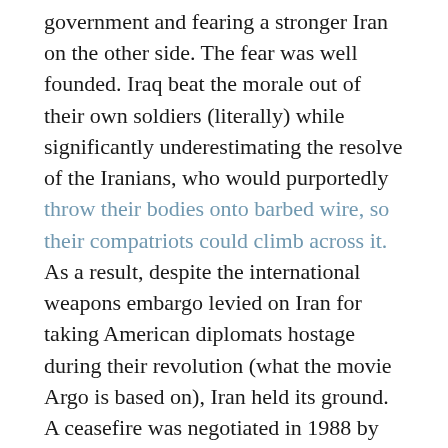government and fearing a stronger Iran on the other side. The fear was well founded. Iraq beat the morale out of their own soldiers (literally) while significantly underestimating the resolve of the Iranians, who would purportedly throw their bodies onto barbed wire, so their compatriots could climb across it. As a result, despite the international weapons embargo levied on Iran for taking American diplomats hostage during their revolution (what the movie Argo is based on), Iran held its ground. A ceasefire was negotiated in 1988 by the United Nations after a million people had lost their lives and both countries were weakened and destabalized.